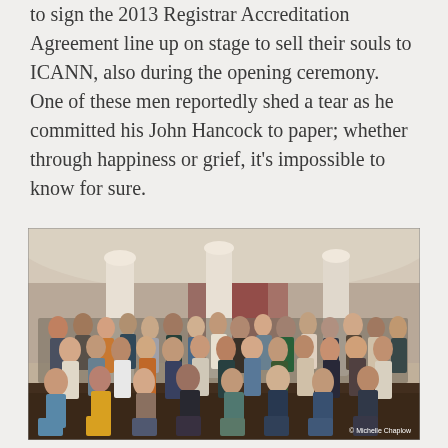to sign the 2013 Registrar Accreditation Agreement line up on stage to sell their souls to ICANN, also during the opening ceremony. One of these men reportedly shed a tear as he committed his John Hancock to paper; whether through happiness or grief, it's impossible to know for sure.
[Figure (photo): A large group photo of approximately 50-60 people posed together in a hotel lobby or conference venue with white columns and warm lighting. © Michelle Chaplow]